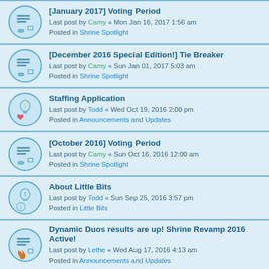[January 2017] Voting Period — Last post by Camy « Mon Jan 16, 2017 1:56 am — Posted in Shrine Spotlight
[December 2016 Special Edition!] Tie Breaker — Last post by Camy « Sun Jan 01, 2017 5:03 am — Posted in Shrine Spotlight
Staffing Application — Last post by Todd « Wed Oct 19, 2016 2:00 pm — Posted in Announcements and Updates
[October 2016] Voting Period — Last post by Camy « Sun Oct 16, 2016 12:00 am — Posted in Shrine Spotlight
About Little Bits — Last post by Todd « Sun Sep 25, 2016 3:57 pm — Posted in Little Bits
Dynamic Duos results are up! Shrine Revamp 2016 Active! — Last post by Lethe « Wed Aug 17, 2016 4:13 am — Posted in Announcements and Updates
June/July 2016 Update — Last post by Lethe « Wed Jul 27, 2016 1:10 pm — Posted in Directory Updates
June 2016 — Last post by Lethe « Fri Jul 01, 2016 1:47 am — Posted in Monthly Rewind
External Issues